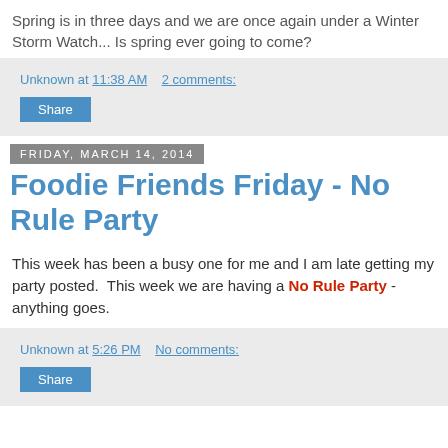Spring is in three days and we are once again under a Winter Storm Watch... Is spring ever going to come?
Unknown at 11:38 AM   2 comments:
Share
Friday, March 14, 2014
Foodie Friends Friday - No Rule Party
This week has been a busy one for me and I am late getting my party posted.  This week we are having a No Rule Party - anything goes.
Unknown at 5:26 PM   No comments:
Share